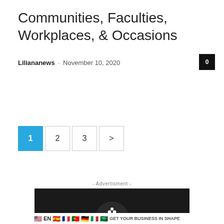Communities, Faculties, Workplaces, & Occasions
Liliananews · November 10, 2020
0
1  2  3  >
- Advertisment -
[Figure (logo): Biznasium advertisement banner with logo, brand name 'BIZNASIUM' in white and red, and tagline 'GET YOUR BUSINESS IN SHAPE' on dark background with flag icons along the bottom.]